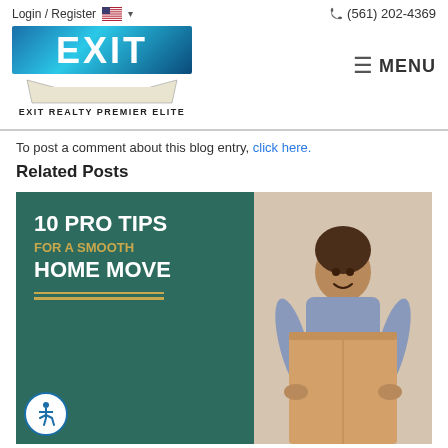Login / Register | (561) 202-4369 | EXIT REALTY PREMIER ELITE | MENU
To post a comment about this blog entry, click here.
Related Posts
[Figure (infographic): Blog post thumbnail showing '10 PRO TIPS FOR A SMOOTH HOME MOVE' with a woman carrying a cardboard box on the right side and teal/green panel with text on the left.]